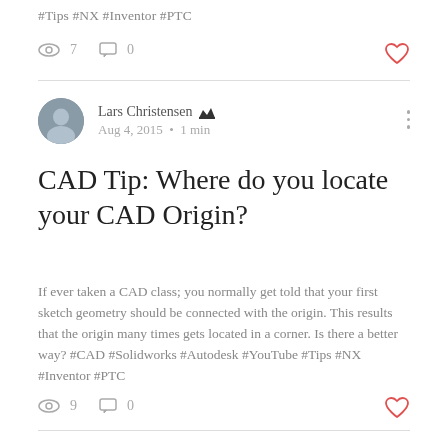#Tips #NX #Inventor #PTC
7 views, 0 comments
Lars Christensen · Aug 4, 2015 · 1 min
CAD Tip: Where do you locate your CAD Origin?
If ever taken a CAD class; you normally get told that your first sketch geometry should be connected with the origin. This results that the origin many times gets located in a corner. Is there a better way? #CAD #Solidworks #Autodesk #YouTube #Tips #NX #Inventor #PTC
9 views, 0 comments